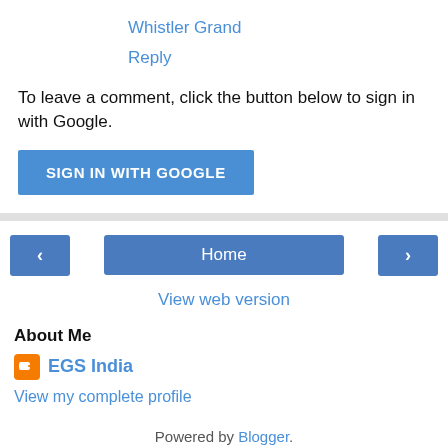Whistler Grand
Reply
To leave a comment, click the button below to sign in with Google.
[Figure (other): SIGN IN WITH GOOGLE button (blue)]
[Figure (other): Navigation bar with left arrow button, Home button, and right arrow button]
View web version
About Me
EGS India
View my complete profile
Powered by Blogger.